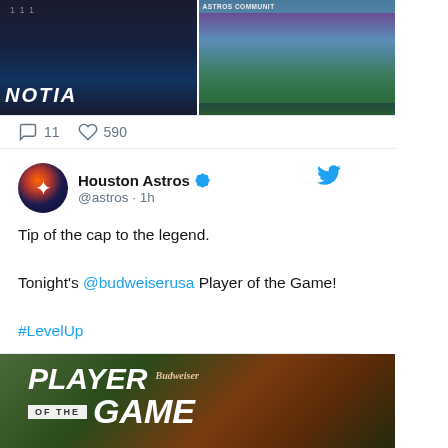[Figure (photo): Two baseball photos side by side - left shows player in dark uniform near scoreboard with NOTIA text visible, right shows stadium wide shot with ASTROS COMMUNITY text visible]
11   590
[Figure (screenshot): Tweet from Houston Astros (@astros · 1h): Tip of the cap to the legend. Tonight's @budweiserusa Player of the Game! #LevelUp]
Houston Astros @astros · 1h
Tip of the cap to the legend.

Tonight's @budweiserusa Player of the Game!

#LevelUp
[Figure (photo): Budweiser Player of the Game promotional image with player in Houston Astros uniform tipping cap]